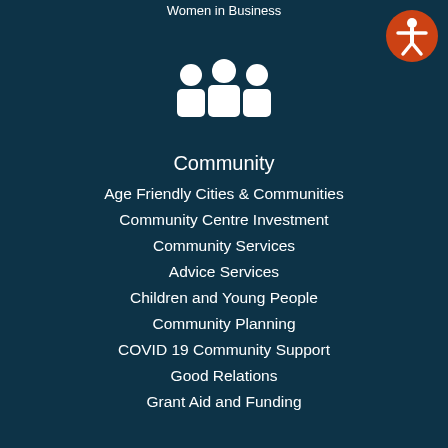Women in Business
[Figure (illustration): White icon of three people/community group figures on dark teal background]
Community
Age Friendly Cities & Communities
Community Centre Investment
Community Services
Advice Services
Children and Young People
Community Planning
COVID 19 Community Support
Good Relations
Grant Aid and Funding